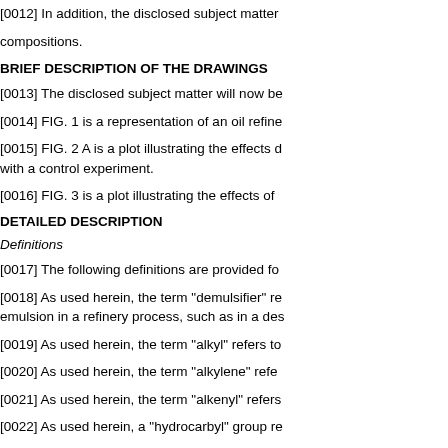[0012] In addition, the disclosed subject matter compositions.
BRIEF DESCRIPTION OF THE DRAWINGS
[0013] The disclosed subject matter will now be
[0014] FIG. 1 is a representation of an oil refine
[0015] FIG. 2 A is a plot illustrating the effects d with a control experiment.
[0016] FIG. 3 is a plot illustrating the effects of
DETAILED DESCRIPTION
Definitions
[0017] The following definitions are provided fo
[0018] As used herein, the term "demulsifier" re emulsion in a refinery process, such as in a des
[0019] As used herein, the term "alkyl" refers to
[0020] As used herein, the term "alkylene" refe
[0021] As used herein, the term "alkenyl" refers
[0022] As used herein, a "hydrocarbyl" group re
[0023] As used herein, the term "crude hydroca refinery process, which is, or can be, suscepti